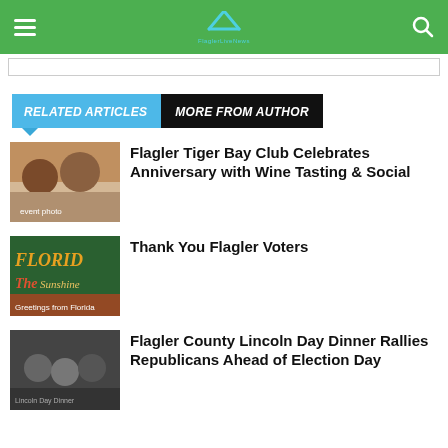FlaglerLiveNews navigation bar with hamburger menu, logo, and search icon
RELATED ARTICLES | MORE FROM AUTHOR
Flagler Tiger Bay Club Celebrates Anniversary with Wine Tasting & Social
Thank You Flagler Voters
Flagler County Lincoln Day Dinner Rallies Republicans Ahead of Election Day